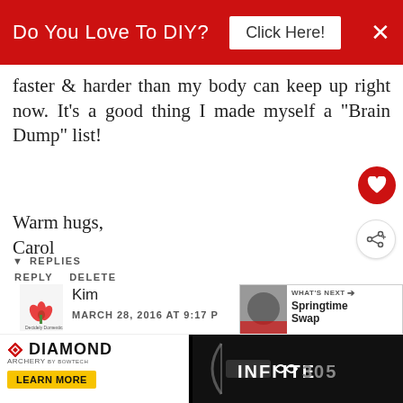[Figure (screenshot): Red advertisement banner with text 'Do You Love To DIY?' and a 'Click Here!' button and X close button]
faster & harder than my body can keep up right now. It's a good thing I made myself a "Brain Dump" list!
Warm hugs,
Carol
REPLY DELETE
▼ REPLIES
[Figure (illustration): User avatar with flower/plant motif for commenter Kim]
Kim
MARCH 28, 2016 AT 9:17 P
Oh Carol, every month I
[Figure (screenshot): What's Next box showing 'Springtime Swap' with avatar image]
[Figure (screenshot): Bottom advertisement bar: Diamond Archery 'Learn More' on left, Infinite 305 on right]